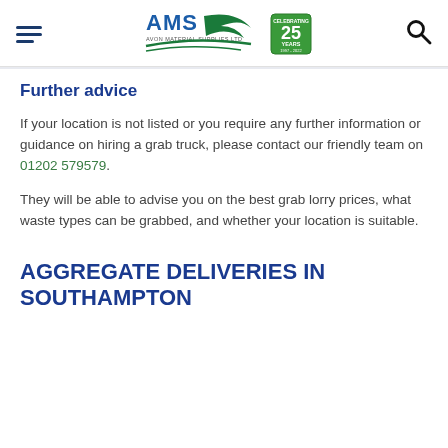AMS Avon Material Supplies Ltd — 25 Years
Further advice
If your location is not listed or you require any further information or guidance on hiring a grab truck, please contact our friendly team on 01202 579579.
They will be able to advise you on the best grab lorry prices, what waste types can be grabbed, and whether your location is suitable.
AGGREGATE DELIVERIES IN SOUTHAMPTON